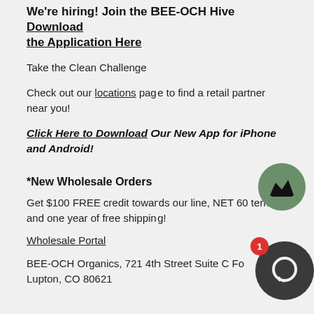We're hiring! Join the BEE-OCH Hive Download the Application Here
Take the Clean Challenge
Check out our locations page to find a retail partner near you!
Click Here to Download Our New App for iPhone and Android!
*New Wholesale Orders
Get $100 FREE credit towards our line, NET 60 terms, and one year of free shipping!
Wholesale Portal
BEE-OCH Organics, 721 4th Street Suite C Fort Lupton, CO 80621
[Figure (illustration): Green circle with crown icon (loyalty/VIP widget)]
[Figure (illustration): Dark gray circle chat widget with red badge showing number 1]